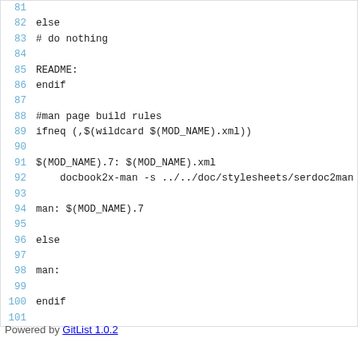Code listing lines 81-101:
81
82    else
83    # do nothing
84
85    README:
86    endif
87
88    #man page build rules
89    ifneq (,$(wildcard $(MOD_NAME).xml))
90
91    $(MOD_NAME).7: $(MOD_NAME).xml
92        docbook2x-man -s ../../doc/stylesheets/serdoc2man
93
94    man: $(MOD_NAME).7
95
96    else
97
98    man:
99
100   endif
101
Powered by GitList 1.0.2